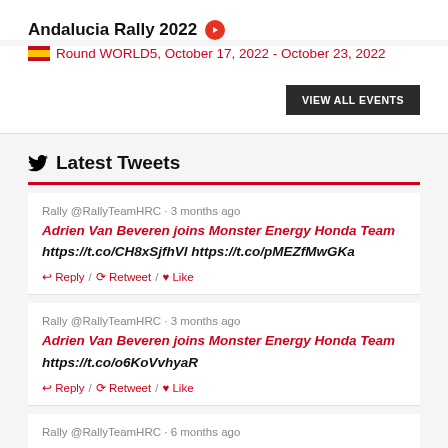Andalucia Rally 2022
🇪🇸 Round WORLD5, October 17, 2022 - October 23, 2022
VIEW ALL EVENTS
Latest Tweets
Rally @RallyTeamHRC · 3 months ago
Adrien Van Beveren joins Monster Energy Honda Team https://t.co/CH8xSjfhVl https://t.co/pMEZfMwGKa
↩ Reply / 🔁 Retweet / ❤ Like
Rally @RallyTeamHRC · 3 months ago
Adrien Van Beveren joins Monster Energy Honda Team https://t.co/o6KoVvhyaR
↩ Reply / 🔁 Retweet / ❤ Like
Rally @RallyTeamHRC · 6 months ago